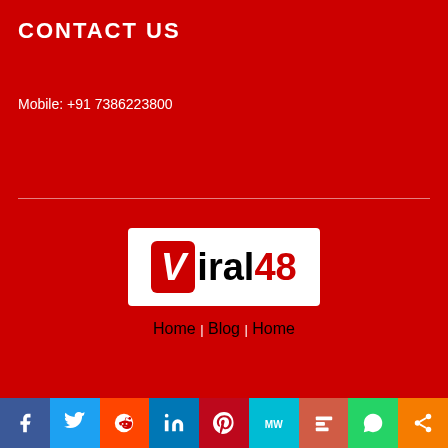CONTACT US
Mobile: +91 7386223800
[Figure (logo): Viral48 logo: red rounded square with italic white V, followed by 'iral48' in black text on white background]
Home | Blog | Home
[Figure (infographic): Social share bar with icons: Facebook (blue), Twitter (light blue), Reddit (orange-red), LinkedIn (blue), Pinterest (dark red), MW (teal), Mix (brown-orange), WhatsApp (green), Share (orange)]